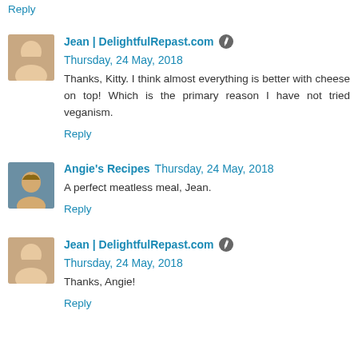Reply
Jean | DelightfulRepast.com  Thursday, 24 May, 2018
Thanks, Kitty. I think almost everything is better with cheese on top! Which is the primary reason I have not tried veganism.
Reply
Angie's Recipes  Thursday, 24 May, 2018
A perfect meatless meal, Jean.
Reply
Jean | DelightfulRepast.com  Thursday, 24 May, 2018
Thanks, Angie!
Reply